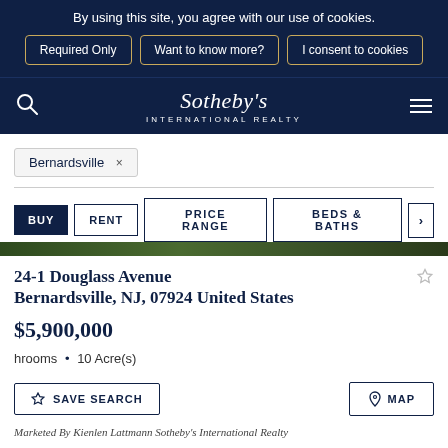By using this site, you agree with our use of cookies.
Required Only | Want to know more? | I consent to cookies
Sotheby's INTERNATIONAL REALTY
Bernardsville ×
BUY  RENT  PRICE RANGE  BEDS & BATHS  >
24-1 Douglass Avenue Bernardsville, NJ, 07924 United States
$5,900,000
hrooms • 10 Acre(s)
SAVE SEARCH  MAP
Marketed By Kienlen Lattmann Sotheby's International Realty